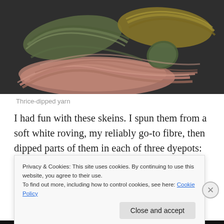[Figure (photo): Photograph of skeins of hand-dyed yarn in muted shades of olive green, mustard yellow, and dusty rose/terracotta, arranged on a dark grey surface.]
Thrice-dipped yarn
I had fun with these skeins. I spun them from a soft white roving, my reliably go-to fibre, then dipped parts of them in each of three dyepots: dyer's polypore (Phaeolus
Privacy & Cookies: This site uses cookies. By continuing to use this website, you agree to their use.
To find out more, including how to control cookies, see here: Cookie Policy
Close and accept